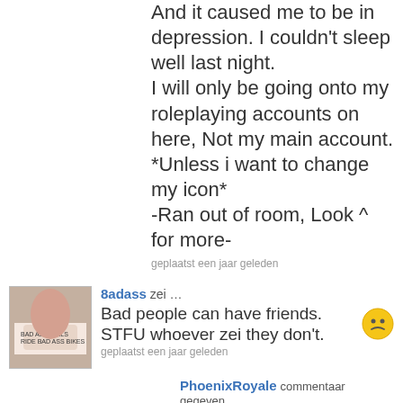And it caused me to be in depression. I couldn't sleep well last night.
I will only be going onto my roleplaying accounts on here, Not my main account.
*Unless i want to change my icon*
-Ran out of room, Look ^ for more-
geplaatst een jaar geleden
8adass zei … Bad people can have friends. STFU whoever zei they don't.
geplaatst een jaar geleden
PhoenixRoyale commentaar gegeven… They can, that is, if they never discover about the real you. een jaar geleden
BlindBandit92 zei … NU. :U My headphones has gone kaput. Dx I cannot live without my music...
geplaatst een jaar geleden
Sandfire_Paiger commentaar gegeven...